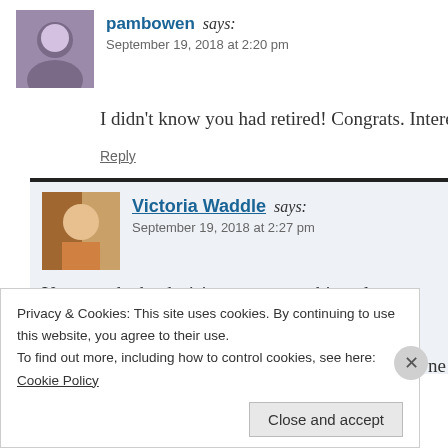pambowen says:
September 19, 2018 at 2:20 pm
I didn't know you had retired! Congrats. Interesting bo
Reply
Victoria Waddle says:
September 19, 2018 at 2:27 pm
Yes—made the decision to go out a bit earl responsibilities to the old folks, more than e issues. But thinking of starting to review ag ne
Privacy & Cookies: This site uses cookies. By continuing to use this website, you agree to their use. To find out more, including how to control cookies, see here: Cookie Policy
Close and accept